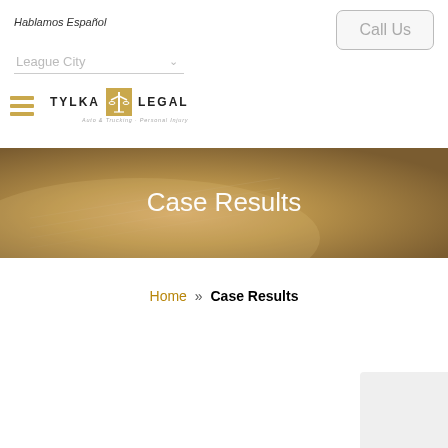Hablamos Español
League City
Call Us
[Figure (logo): Tylka Legal law firm logo with scales of justice icon, text reads TYLKA LEGAL Auto & Trucking · Personal Injury]
[Figure (photo): Hero banner with blurred open book background and white text reading Case Results]
Case Results
Home » Case Results